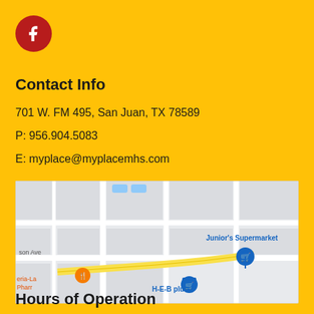[Figure (logo): Facebook icon - red circle with white f letter]
Contact Info
701 W. FM 495, San Juan, TX 78589
P: 956.904.5083
E: myplace@myplacemhs.com
[Figure (map): Google Maps screenshot showing area near 701 W. FM 495, San Juan TX. Shows Junior's Supermarket, H-E-B plus!, and partial label eria-La Pharr. Road 2 visible at bottom.]
Hours of Operation